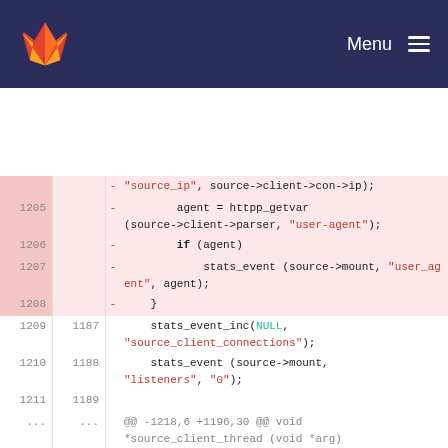GitLab Menu
[Figure (screenshot): Code diff view showing removed lines 1205-1208 (stats_event with source_ip, agent=httpp_getvar, if(agent), stats_event user_agent) and context lines 1209-1220/1187-1198 with stats_event_inc NULL, source_client_connections, stats_event listeners 0, and hunk header @@ -1218,6 +1196,30 @@ void *source_client_thread (void *arg), plus start of added line with void source_client_callback]